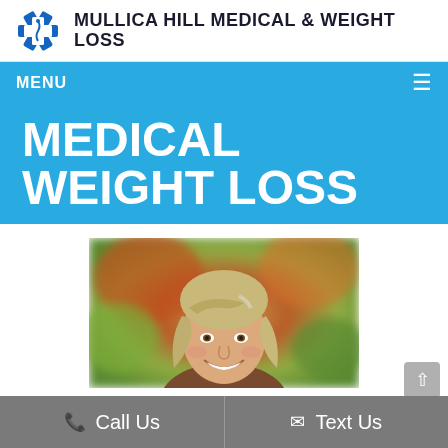[Figure (logo): Star of Life medical symbol logo in blue with white snake/caduceus, followed by bold text 'MULLICA HILL MEDICAL & WEIGHT LOSS']
MENU  ≡
MEDICAL WEIGHT LOSS
[Figure (photo): Smiling middle-aged blonde woman with shoulder-length hair, photographed outdoors with blurred autumn foliage background (orange, red, green)]
Call Us   Text Us